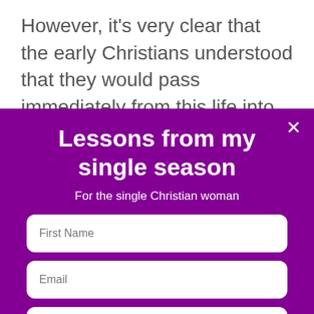However, it's very clear that the early Christians understood that they would pass immediately from this life into the presence of Christ in heaven. How can that be possible if heaven is
Lessons from my single season
For the single Christian woman
First Name
Email
Download